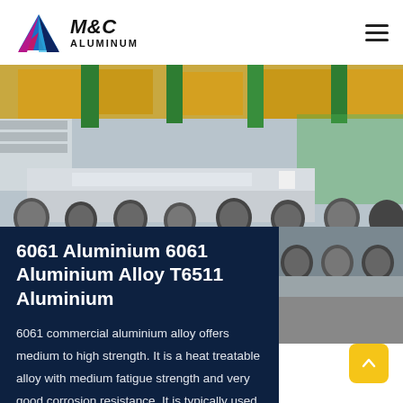[Figure (logo): M&C Aluminum logo with triangular geometric icon in blue, purple, and magenta, with bold italic M&C text and ALUMINUM subtitle]
[Figure (photo): Industrial aluminum sheet processing facility with large aluminum plates on rollers and yellow overhead machinery]
6061 Aluminium 6061 Aluminium Alloy T6511 Aluminium
6061 commercial aluminium alloy offers medium to high strength. It is a heat treatable alloy with medium fatigue strength and very good corrosion resistance. It is typically used in heavy duty applications. Typical...